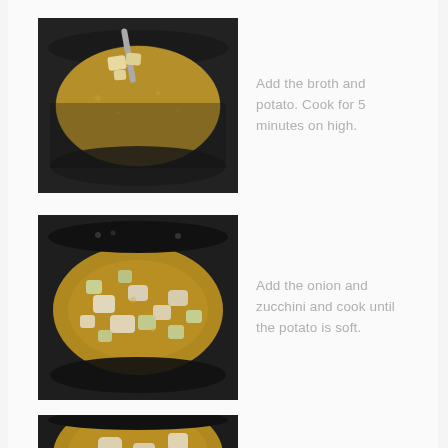[Figure (photo): Photo of a dark pot with broth and chunks of potato being added with a spoon]
Add the broth and potato. Cook for 5 minutes on high.
[Figure (photo): Photo of a dark pot with broth, diced onion and zucchini pieces]
Add the onion and zucchini and cook until the potato is soft.
[Figure (photo): Photo of a dark pot with broth, partially visible at bottom of page]